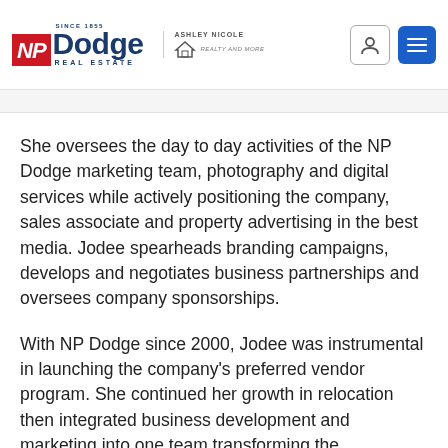NP Dodge Real Estate — Since 1855 | Ashley Nicole Realty
She oversees the day to day activities of the NP Dodge marketing team, photography and digital services while actively positioning the company, sales associate and property advertising in the best media. Jodee spearheads branding campaigns, develops and negotiates business partnerships and oversees company sponsorships.
With NP Dodge since 2000, Jodee was instrumental in launching the company’s preferred vendor program. She continued her growth in relocation then integrated business development and marketing into one team transforming the department into a full-service powerhouse.  Jodee is the mastermind behind the NP Dodge “I Gotta Feeling” lip dub, NP Dodge MARTECH annual conference and the